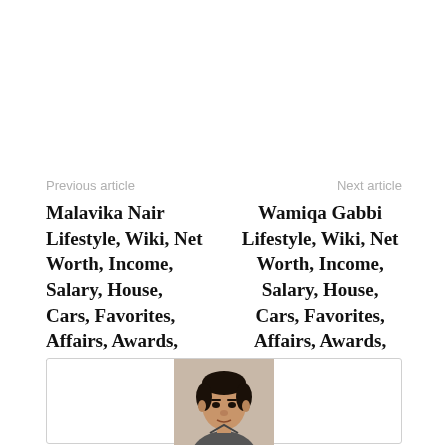Previous article
Next article
Malavika Nair Lifestyle, Wiki, Net Worth, Income, Salary, House, Cars, Favorites, Affairs, Awards, Family, Facts & Biography
Wamiqa Gabbi Lifestyle, Wiki, Net Worth, Income, Salary, House, Cars, Favorites, Affairs, Awards, Family, Facts & Biography
[Figure (photo): Author photo of a young man with dark hair wearing a grey shirt, sitting indoors]